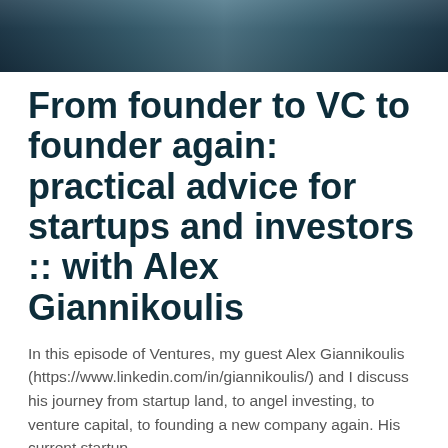[Figure (photo): Dark header image strip showing partial view of people, appears to be a podcast or interview thumbnail header]
From founder to VC to founder again: practical advice for startups and investors :: with Alex Giannikoulis
In this episode of Ventures, my guest Alex Giannikoulis (https://www.linkedin.com/in/giannikoulis/) and I discuss his journey from startup land, to angel investing, to venture capital, to founding a new company again. His current startup